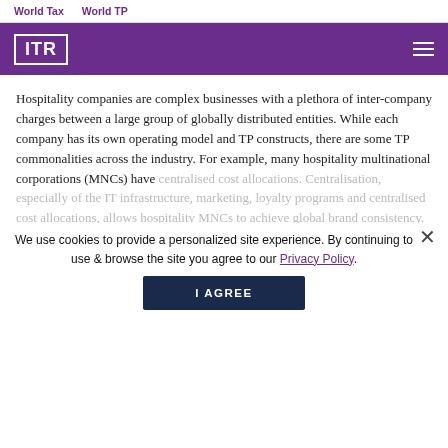World Tax   World TP
[Figure (logo): ITR logo — white letters ITR in a white square border on purple background navigation bar]
Hospitality companies are complex businesses with a plethora of inter-company charges between a large group of globally distributed entities. While each company has its own operating model and TP constructs, there are some TP commonalities across the industry. For example, many hospitality multinational corporations (MNCs) have centralised cost allocations. Centralisation, especially of the IT infrastructure, marketing, loyalty programs and centralised cost allocations, allows hospitality MNCs to achieve global brand consistency. Consistency in customer experience from property to property. Accordingly, costs are often centrally and globally managed, and allocated to benefiting affiliates based on carefully identified cost driving metrics.
We use cookies to provide a personalized site experience. By continuing to use & browse the site you agree to our Privacy Policy.
I AGREE